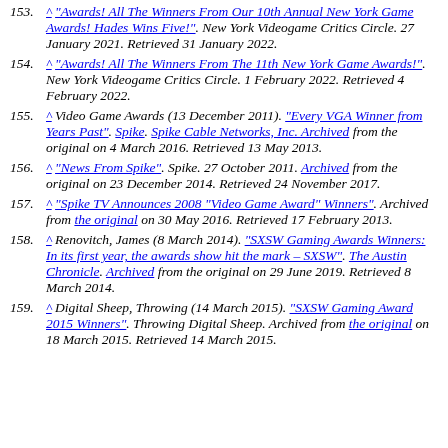153. ^ "Awards! All The Winners From Our 10th Annual New York Game Awards! Hades Wins Five!". New York Videogame Critics Circle. 27 January 2021. Retrieved 31 January 2022.
154. ^ "Awards! All The Winners From The 11th New York Game Awards!". New York Videogame Critics Circle. 1 February 2022. Retrieved 4 February 2022.
155. ^ Video Game Awards (13 December 2011). "Every VGA Winner from Years Past". Spike. Spike Cable Networks, Inc. Archived from the original on 4 March 2016. Retrieved 13 May 2013.
156. ^ "News From Spike". Spike. 27 October 2011. Archived from the original on 23 December 2014. Retrieved 24 November 2017.
157. ^ "Spike TV Announces 2008 "Video Game Award" Winners". Archived from the original on 30 May 2016. Retrieved 17 February 2013.
158. ^ Renovitch, James (8 March 2014). "SXSW Gaming Awards Winners: In its first year, the awards show hit the mark – SXSW". The Austin Chronicle. Archived from the original on 29 June 2019. Retrieved 8 March 2014.
159. ^ Digital Sheep, Throwing (14 March 2015). "SXSW Gaming Award 2015 Winners". Throwing Digital Sheep. Archived from the original on 18 March 2015. Retrieved 14 March 2015.